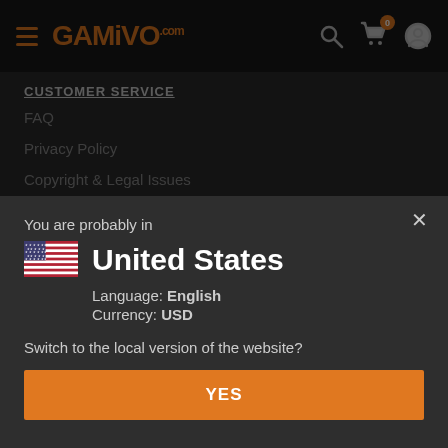[Figure (screenshot): GAMIVO.com website navigation bar with hamburger menu, orange GAMIVO logo, search icon, cart icon with badge showing 0, and user account icon on dark background]
CUSTOMER SERVICE
FAQ
Privacy Policy
Copyright & Legal Issues
You are probably in
United States
Language: English
Currency: USD
Switch to the local version of the website?
YES